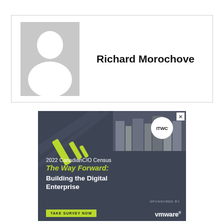[Figure (photo): Profile card with placeholder avatar silhouette (gray background, white person icon) on the left and the name 'Richard Morochove' in bold on the right, inside a bordered card.]
Richard Morochove
[Figure (infographic): Advertisement banner for '2022 CanadianCIO Census - The Way Forward: Building the Digital Enterprise', sponsored by VMware. Dark blue-gray background with lime-green diagonal design elements, cityscape photo inset, ITWC logo badge, 'TAKE SURVEY NOW' call-to-action button, and VMware logo. Close (X) button in top right corner.]